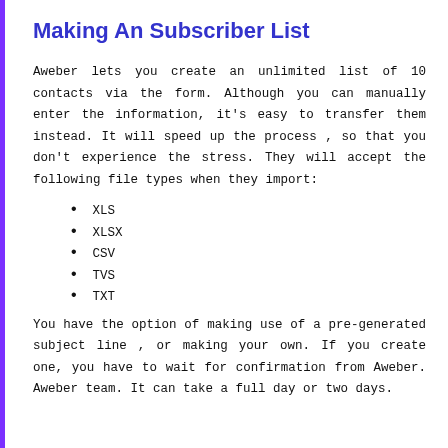Making An Subscriber List
Aweber lets you create an unlimited list of 10 contacts via the form. Although you can manually enter the information, it's easy to transfer them instead. It will speed up the process , so that you don't experience the stress. They will accept the following file types when they import:
XLS
XLSX
CSV
TVS
TXT
You have the option of making use of a pre-generated subject line , or making your own. If you create one, you have to wait for confirmation from Aweber. Aweber team. It can take a full day or two days.